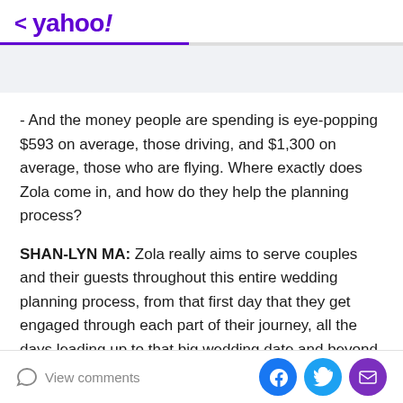< yahoo!
- And the money people are spending is eye-popping $593 on average, those driving, and $1,300 on average, those who are flying. Where exactly does Zola come in, and how do they help the planning process?
SHAN-LYN MA: Zola really aims to serve couples and their guests throughout this entire wedding planning process, from that first day that they get engaged through each part of their journey, all the days leading up to that big wedding date and beyond. We do so with modern tools and technology, many of which are free to use. And we do so to make it easier for couples and
View comments